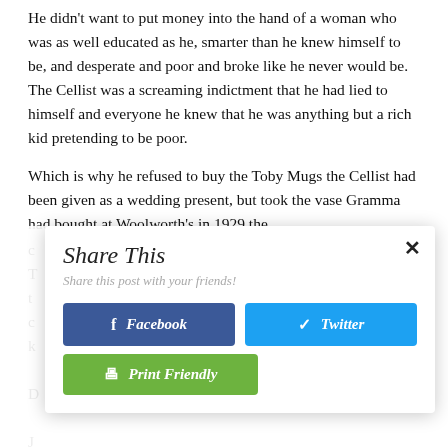He didn't want to put money into the hand of a woman who was as well educated as he, smarter than he knew himself to be, and desperate and poor and broke like he never would be. The Cellist was a screaming indictment that he had lied to himself and everyone he knew that he was anything but a rich kid pretending to be poor.
Which is why he refused to buy the Toby Mugs the Cellist had been given as a wedding present, but took the vase Gramma had bought at Woolworth's in 1929 the
[Figure (screenshot): A 'Share This' modal dialog overlay with title 'Share This', subtitle 'Share this post with your friends!', a Facebook button (blue), a Twitter button (light blue), and a Print Friendly button (green). A close ('x') button is in the top right.]